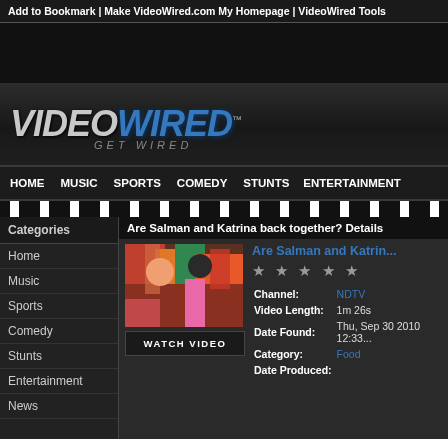Add to Bookmark | Make VideoWired.com My Homepage | VideoWired Tools
[Figure (logo): VideoWired logo with tagline GET WIRED. VIDEO in gray/silver, WIRED in blue, italic bold stylized text.]
HOME  MUSIC  SPORTS  COMEDY  STUNTS  ENTERTAINMENT
Categories
Home
Music
Sports
Comedy
Stunts
Entertainment
News
Are Salman and Katrina back together? Details
Are Salman and Katrin...
[Figure (photo): Photo of Salman Khan and Katrina Kaif in colorful clothing in a crowd scene]
WATCH VIDEO
| Field | Value |
| --- | --- |
| Channel: | NDTV |
| Video Length: | 1m 26s |
| Date Found: | Thu, Sep 30 2010 12:33 |
| Category: | Food |
| Date Produced: |  |